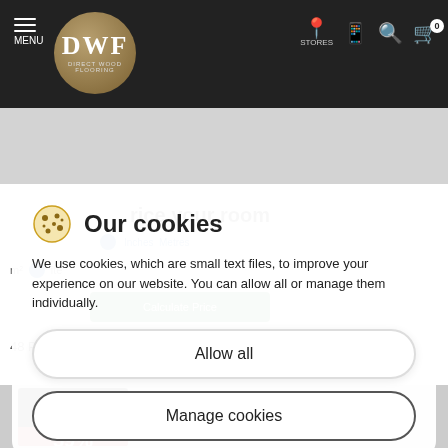[Figure (screenshot): Direct Wood Flooring website header with DWF logo, navigation menu, stores, phone, search, and basket icons on dark background]
BANK HOLIDAY SALE NOW ON!
Ends in 3 days, 20 hours, 9 minutes, 12 seconds
Our cookies
We use cookies, which are small text files, to improve your experience on our website. You can allow all or manage them individually.
Allow all
Manage cookies
48 Products match your selection
Summer Sale
59%